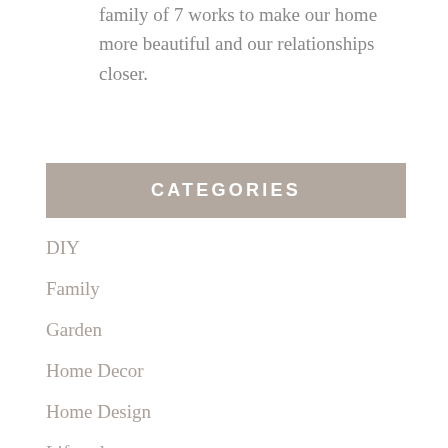family of 7 works to make our home more beautiful and our relationships closer.
CATEGORIES
DIY
Family
Garden
Home Decor
Home Design
Lifestyle
Organization